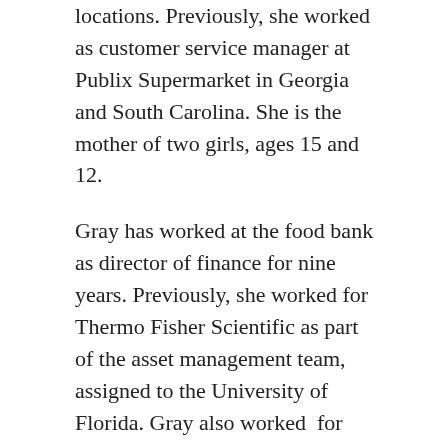locations. Previously, she worked as customer service manager at Publix Supermarket in Georgia and South Carolina. She is the mother of two girls, ages 15 and 12.
Gray has worked at the food bank as director of finance for nine years. Previously, she worked for Thermo Fisher Scientific as part of the asset management team, assigned to the University of Florida. Gray also worked  for nine years in the insurance market including Nationwide Insurance. She is married and has two adult children.
Gerald Booth is the warehouse manager, a position he has held since November 2021. Previously he worked at Performance Food Group, a food distributor with more than 14,000 employees, for five years in different leadership roles, and has worked in a warehouse position for more than 14